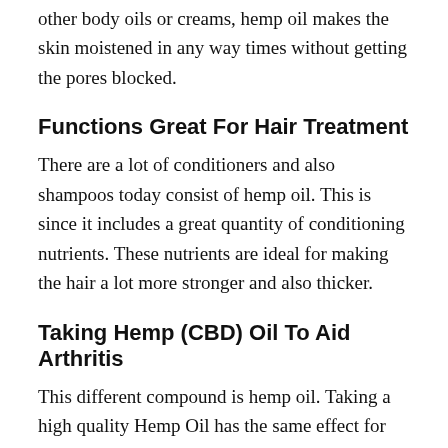other body oils or creams, hemp oil makes the skin moistened in any way times without getting the pores blocked.
Functions Great For Hair Treatment
There are a lot of conditioners and also shampoos today consist of hemp oil. This is since it includes a great quantity of conditioning nutrients. These nutrients are ideal for making the hair a lot more stronger and also thicker.
Taking Hemp (CBD) Oil To Aid Arthritis
This different compound is hemp oil. Taking a high quality Hemp Oil has the same effect for your body as placing oil in your vehicles engine– it oils the system. Hemp is unique since it's packed with a well balanced profile of Omega 3, 6 & 9 fats to match the body's demands